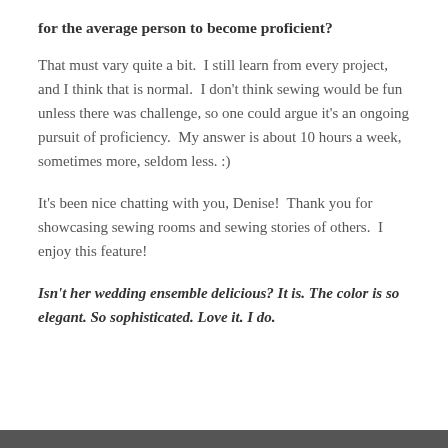for the average person to become proficient?
That must vary quite a bit.  I still learn from every project, and I think that is normal.  I don't think sewing would be fun unless there was challenge, so one could argue it's an ongoing pursuit of proficiency.  My answer is about 10 hours a week, sometimes more, seldom less. :)
It's been nice chatting with you, Denise!  Thank you for showcasing sewing rooms and sewing stories of others.  I enjoy this feature!
Isn't her wedding ensemble delicious? It is. The color is so elegant. So sophisticated. Love it. I do.